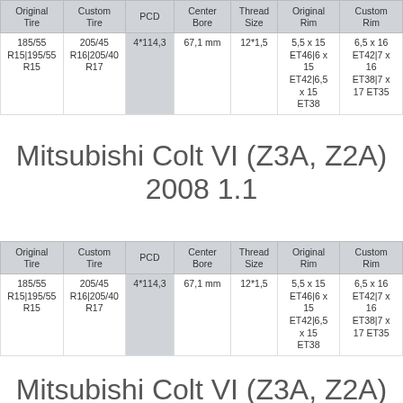| Original Tire | Custom Tire | PCD | Center Bore | Thread Size | Original Rim | Custom Rim |
| --- | --- | --- | --- | --- | --- | --- |
| 185/55 R15|195/55 R15 | 205/45 R16|205/40 R17 | 4*114,3 | 67,1 mm | 12*1,5 | 5,5 x 15 ET46|6 x 15 ET42|6,5 x 15 ET38 | 6,5 x 16 ET42|7 x 16 ET38|7 x 17 ET35 |
Mitsubishi Colt VI (Z3A, Z2A) 2008 1.1
| Original Tire | Custom Tire | PCD | Center Bore | Thread Size | Original Rim | Custom Rim |
| --- | --- | --- | --- | --- | --- | --- |
| 185/55 R15|195/55 R15 | 205/45 R16|205/40 R17 | 4*114,3 | 67,1 mm | 12*1,5 | 5,5 x 15 ET46|6 x 15 ET42|6,5 x 15 ET38 | 6,5 x 16 ET42|7 x 16 ET38|7 x 17 ET35 |
Mitsubishi Colt VI (Z3A, Z2A)